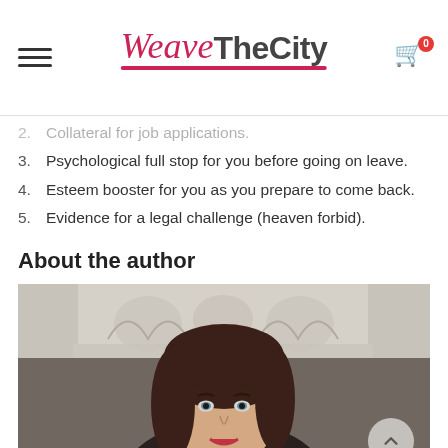WeaveTheCity — site header with hamburger menu and cart (0 items)
2. Collateral for job applications.
3. Psychological full stop for you before going on leave.
4. Esteem booster for you as you prepare to come back.
5. Evidence for a legal challenge (heaven forbid).
About the author
[Figure (photo): Portrait photograph of a woman with dark hair, light eyes, wearing a dark outfit, standing in front of an ornate fireplace mantel. A scroll-to-top button (chevron up) overlays the bottom-right of the photo.]